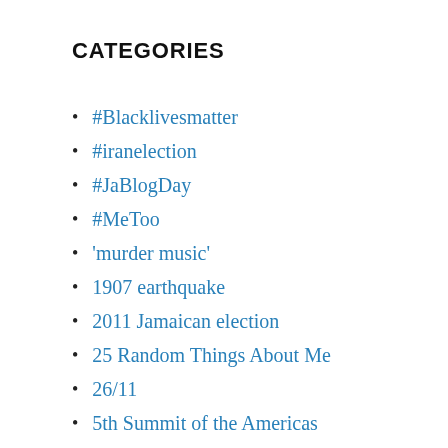CATEGORIES
#Blacklivesmatter
#iranelection
#JaBlogDay
#MeToo
'murder music'
1907 earthquake
2011 Jamaican election
25 Random Things About Me
26/11
5th Summit of the Americas
A Nation of Shopkeepers
a stone of hope
AA 331
AA331